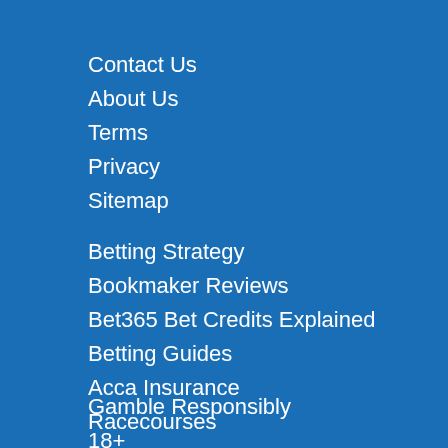Contact Us
About Us
Terms
Privacy
Sitemap
Betting Strategy
Bookmaker Reviews
Bet365 Bet Credits Explained
Betting Guides
Acca Insurance
Racecourses
Gamble Responsibly
18+
Begambleaware.org